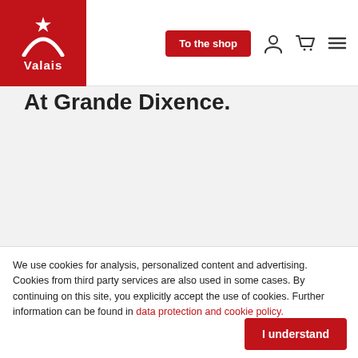[Figure (logo): Valais logo: red square background with white mountain/arch shape and star, white bold text 'Valais' below]
To the shop | user icon | cart icon | menu icon
At Grande Dixence.
We use cookies for analysis, personalized content and advertising. Cookies from third party services are also used in some cases. By continuing on this site, you explicitly accept the use of cookies. Further information can be found in data protection and cookie policy.
I understand